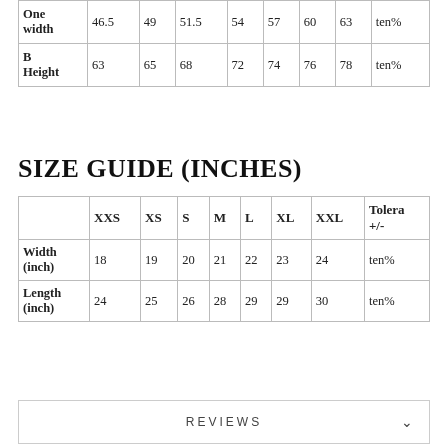|  | XXS | XS | S | M | L | XL | XXL | Tolera +/- |
| --- | --- | --- | --- | --- | --- | --- | --- | --- |
| One width | 46.5 | 49 | 51.5 | 54 | 57 | 60 | 63 | ten% |
| B Height | 63 | 65 | 68 | 72 | 74 | 76 | 78 | ten% |
SIZE GUIDE (INCHES)
|  | XXS | XS | S | M | L | XL | XXL | Tolera +/- |
| --- | --- | --- | --- | --- | --- | --- | --- | --- |
| Width (inch) | 18 | 19 | 20 | 21 | 22 | 23 | 24 | ten% |
| Length (inch) | 24 | 25 | 26 | 28 | 29 | 29 | 30 | ten% |
REVIEWS